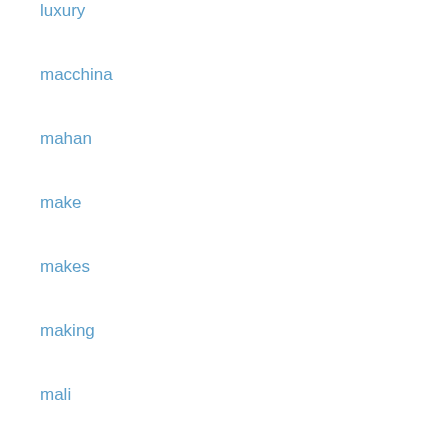luxury
macchina
mahan
make
makes
making
mali
malibu
mamiya
manhunt
marantz
march
marine
martians